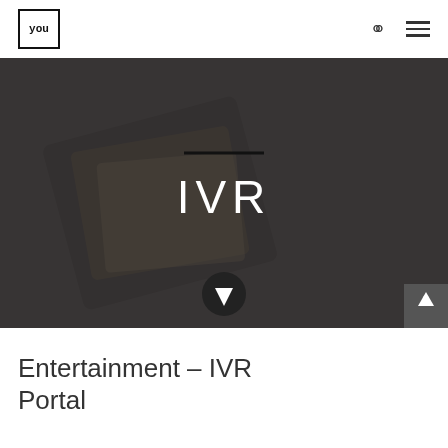YOU
[Figure (screenshot): Hero banner image showing hands holding a tablet with photo albums/cards, overlaid with dark semi-transparent overlay, centered text 'IVR' in white with a black horizontal line above it, and a dark down-arrow circular button at the bottom center.]
Entertainment – IVR Portal